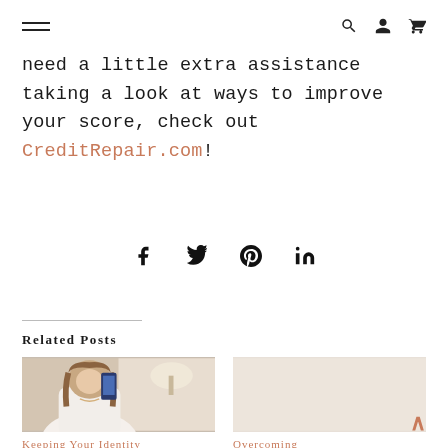[Navigation: hamburger menu, search icon, user icon, cart icon]
need a little extra assistance taking a look at ways to improve your score, check out CreditRepair.com!
[Figure (infographic): Social sharing icons row: Facebook (f), Twitter (bird), Pinterest (P), LinkedIn (in)]
Related Posts
[Figure (photo): Woman smiling and holding up a smartphone showing a financial app, sitting in a home setting]
Keeping Your Identity
Overcoming